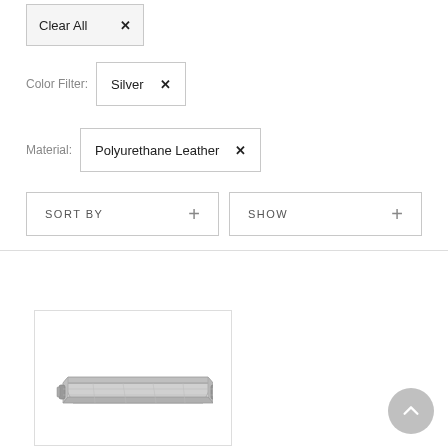Clear All ×
Color Filter: Silver ×
Material: Polyurethane Leather ×
SORT BY +
SHOW +
[Figure (photo): A silver/metallic rectangular serving tray with handles on both sides, shown in a product listing thumbnail]
[Figure (other): Back to top circular button with an upward chevron arrow, grey background]